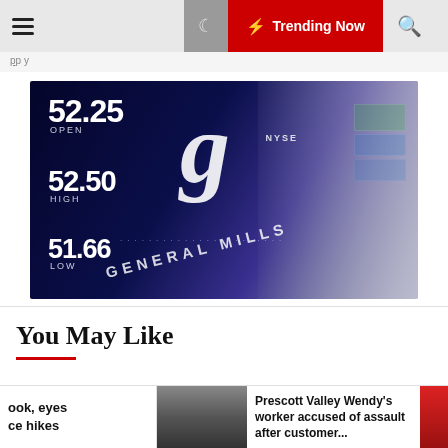Trending Now
[Figure (photo): General Mills stock ticker display board showing OPEN 52.25, HIGH 52.50, LOW 51.66 at the NYSE trading floor]
You May Like
ook, eyes ce hikes
[Figure (photo): Headshot of a man in a news teaser thumbnail]
Prescott Valley Wendy's worker accused of assault after customer...